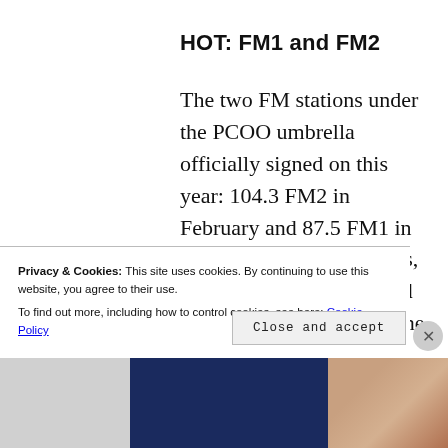HOT: FM1 and FM2
The two FM stations under the PCOO umbrella officially signed on this year: 104.3 FM2 in February and 87.5 FM1 in November. Within months, FM2 became the top-rated FM radio station among the upscale listening public thanks in large part to their diverse format featuring classic songs from the 70s up to the
Privacy & Cookies: This site uses cookies. By continuing to use this website, you agree to their use.
To find out more, including how to control cookies, see here: Cookie Policy
Close and accept
[Figure (photo): Bottom strip with dark blue rectangle and partial photo of a person on the right side]